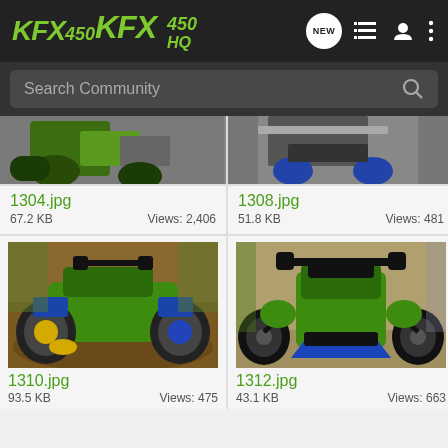KFX 450 HQ
Search Community
[Figure (photo): Partial ATV image cropped at top, showing blue wheels and frame]
1304.jpg
67.2 KB   Views: 2,406
[Figure (photo): Partial ATV photo cropped at top, green ATV with blue wheels]
1308.jpg
51.8 KB   Views: 481
[Figure (photo): Green and blue ATV/quad photographed outdoors on leaves and dirt]
1310.jpg
93.5 KB   Views: 475
[Figure (photo): Green ATV/quad photographed from front, on gravel surface outdoors]
1312.jpg
43.1 KB   Views: 663